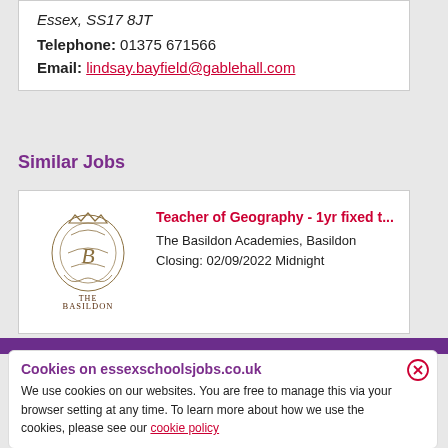Essex, SS17 8JT
Telephone: 01375 671566
Email: lindsay.bayfield@gablehall.com
Similar Jobs
Teacher of Geography - 1yr fixed t...
The Basildon Academies, Basildon
Closing: 02/09/2022 Midnight
Cookies on essexschoolsjobs.co.uk
We use cookies on our websites. You are free to manage this via your browser setting at any time. To learn more about how we use the cookies, please see our cookie policy